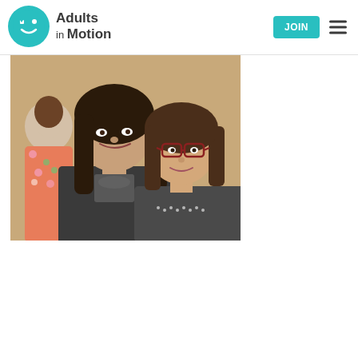[Figure (logo): Adults in Motion logo: teal circle with a smiley face icon on the left, and bold text 'Adults in Motion' on the right]
[Figure (photo): Photo of two young women smiling closely together, one with dark hair leaning on the other who wears red glasses and a grey top; a third person visible in the background wearing a floral shirt]